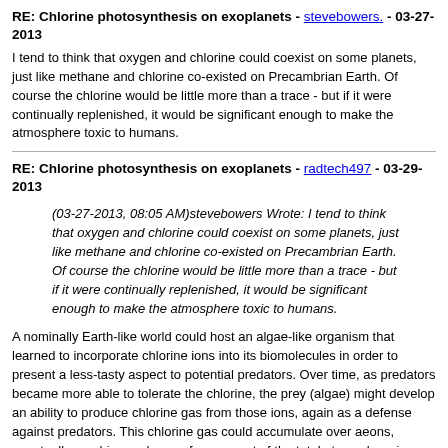RE: Chlorine photosynthesis on exoplanets - stevebowers. - 03-27-2013
I tend to think that oxygen and chlorine could coexist on some planets, just like methane and chlorine co-existed on Precambrian Earth. Of course the chlorine would be little more than a trace - but if it were continually replenished, it would be significant enough to make the atmosphere toxic to humans.
RE: Chlorine photosynthesis on exoplanets - radtech497 - 03-29-2013
(03-27-2013, 08:05 AM)stevebowers Wrote: I tend to think that oxygen and chlorine could coexist on some planets, just like methane and chlorine co-existed on Precambrian Earth. Of course the chlorine would be little more than a trace - but if it were continually replenished, it would be significant enough to make the atmosphere toxic to humans.
A nominally Earth-like world could host an algae-like organism that learned to incorporate chlorine ions into its biomolecules in order to present a less-tasty aspect to potential predators. Over time, as predators became more able to tolerate the chlorine, the prey (algae) might develop an ability to produce chlorine gas from those ions, again as a defense against predators. This chlorine gas could accumulate over aeons, eventually reaching perhaps a few percent of the total atmosphere in composition. The atmosphere will likely consist of nitrogen, oxygen, and a liquid chlorine rain mix injected...